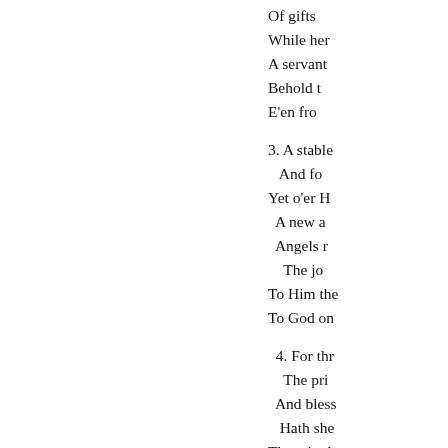Of gifts
While her
A servant
Behold t
E'en fro

3. A stable
And fo
Yet o'er H
A new a
Angels r
The jo
To Him the
To God on

4. For thr
The pri
And bless
Hath she
Then, in th
O Christi
Your voi
Salute th